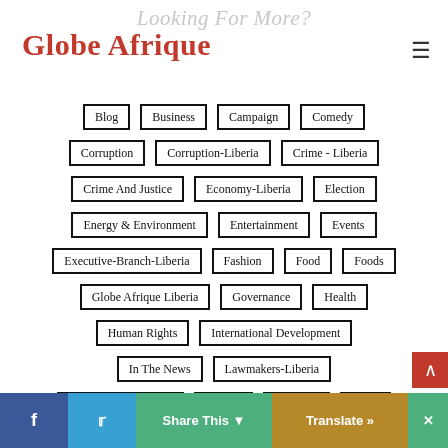Looking For More?
Globe Afrique
Blog
Business
Campaign
Comedy
Corruption
Corruption-Liberia
Crime - Liberia
Crime And Justice
Economy-Liberia
Election
Energy & Environment
Entertainment
Events
Executive-Branch-Liberia
Fashion
Food
Foods
Globe Afrique Liberia
Governance
Health
Human Rights
International Development
In The News
Lawmakers-Liberia
Letters To The Editor
Liberia
Lifestyle
News
Share This | Translate »